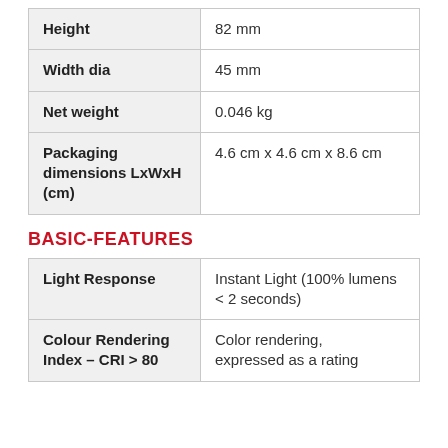| Property | Value |
| --- | --- |
| Height | 82 mm |
| Width dia | 45 mm |
| Net weight | 0.046 kg |
| Packaging dimensions LxWxH (cm) | 4.6 cm x 4.6 cm x 8.6 cm |
BASIC-FEATURES
| Property | Value |
| --- | --- |
| Light Response | Instant Light (100% lumens < 2 seconds) |
| Colour Rendering Index – CRI > 80 | Color rendering, expressed as a rating |